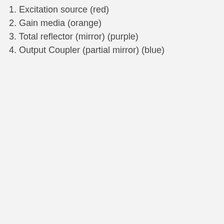1. Excitation source (red)
2. Gain media (orange)
3. Total reflector (mirror) (purple)
4. Output Coupler (partial mirror) (blue)